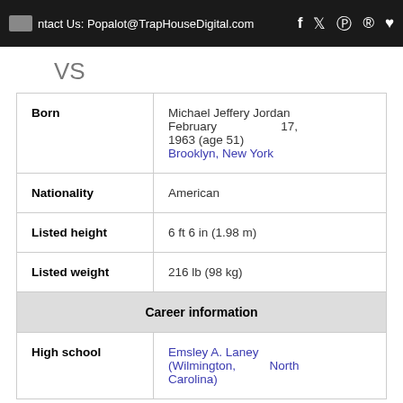Contact Us: Popalot@TrapHouseDigital.com
VS
| Born | Michael Jeffery Jordan February 17, 1963 (age 51) Brooklyn, New York |
| Nationality | American |
| Listed height | 6 ft 6 in (1.98 m) |
| Listed weight | 216 lb (98 kg) |
| Career information |  |
| High school | Emsley A. Laney (Wilmington, North Carolina) |